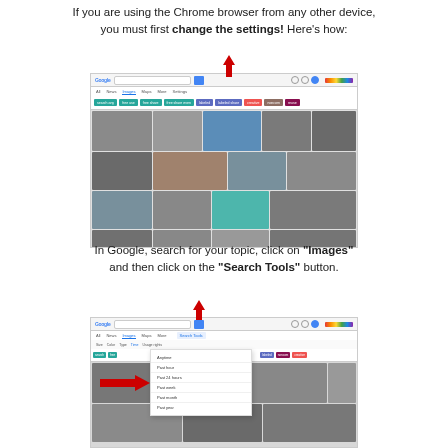If you are using the Chrome browser from any other device, you must first change the settings! Here's how:
[Figure (screenshot): Screenshot of Google Images search results showing historical photos of Ellis Island, with a red downward arrow pointing to the Settings icon in the top bar.]
In Google, search for your topic, click on "Images" and then click on the "Search Tools" button.
[Figure (screenshot): Screenshot of Google Images with a red downward arrow pointing to 'Search Tools' button and a red right-pointing arrow highlighting a dropdown menu option.]